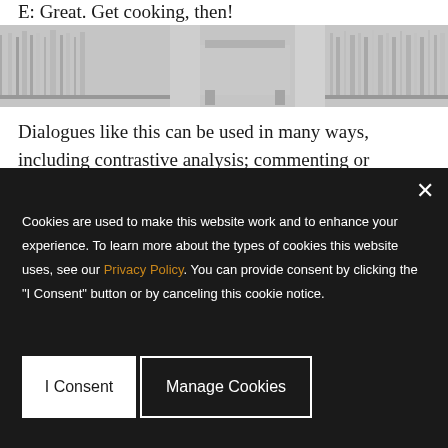E: Great. Get cooking, then!
[Figure (photo): Blurred library/bookshelf image used as page background decoration]
Dialogues like this can be used in many ways, including contrastive analysis; commenting or discovery activities;
Cookies are used to make this website work and to enhance your experience. To learn more about the types of cookies this website uses, see our Privacy Policy. You can provide consent by clicking the "I Consent" button or by canceling this cookie notice.
I Consent
Manage Cookies